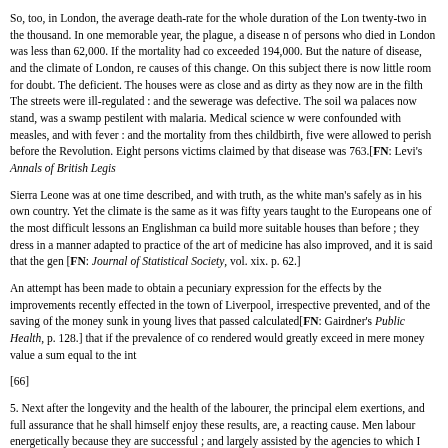So, too, in London, the average death-rate for the whole duration of the Lo... twenty-two in the thousand. In one memorable year, the plague, a disease n... of persons who died in London was less than 62,000. If the mortality had co... exceeded 194,000. But the nature of disease, and the climate of London, re... causes of this change. On this subject there is now little room for doubt. The deficient. The houses were as close and as dirty as they now are in the filth... The streets were ill-regulated : and the sewerage was defective. The soil wa... palaces now stand, was a swamp pestilent with malaria. Medical science w... were confounded with measles, and with fever : and the mortality from thes... childbirth, five were allowed to perish before the Revolution. Eight persons ... victims claimed by that disease was 763.[FN: Levi's Annals of British Legis...
Sierra Leone was at one time described, and with truth, as the white man's... safely as in his own country. Yet the climate is the same as it was fifty years... taught to the Europeans one of the most difficult lessons an Englishman ca... build more suitable houses than before ; they dress in a manner adapted to... practice of the art of medicine has also improved, and it is said that the gen... [FN: Journal of Statistical Society, vol. xix. p. 62.]
An attempt has been made to obtain a pecuniary expression for the effects... by the improvements recently effected in the town of Liverpool, irrespective... prevented, and of the saving of the money sunk in young lives that passed... calculated[FN: Gairdner's Public Health, p. 128.] that if the prevalence of co... rendered would greatly exceed in mere money value a sum equal to the int...
[66]
5. Next after the longevity and the health of the labourer, the principal elem... exertions, and full assurance that he shall himself enjoy these results, are, a... reacting cause. Men labour energetically because they are successful ; and... largely assisted by the agencies to which I shall presently refer, as the impe... applies improved processes in dealing with them, the return to his labour be...